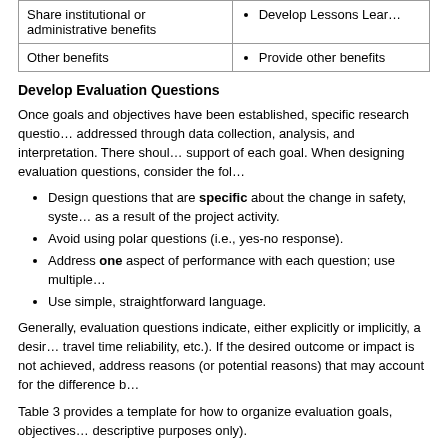|  |  |
| --- | --- |
| Share institutional or administrative benefits | Develop Lessons Lear… |
| Other benefits | Provide other benefits |
Develop Evaluation Questions
Once goals and objectives have been established, specific research questions addressed through data collection, analysis, and interpretation. There should be support of each goal. When designing evaluation questions, consider the following:
Design questions that are specific about the change in safety, system... as a result of the project activity.
Avoid using polar questions (i.e., yes-no response).
Address one aspect of performance with each question; use multiple...
Use simple, straightforward language.
Generally, evaluation questions indicate, either explicitly or implicitly, a desired outcome (e.g., reduced crashes, travel time reliability, etc.). If the desired outcome or impact is not achieved, address reasons (or potential reasons) that may account for the difference b…
Table 3 provides a template for how to organize evaluation goals, objectives... descriptive purposes only).
Table 3. Template with Example Evaluation Goals, Objectives, and Evaluation Questions (cont.)
Note: Examples are included for illustrative purposes only.
| Goal Area | Objective |
| --- | --- |
| Improve Safety | Reduce Traffic crashes |